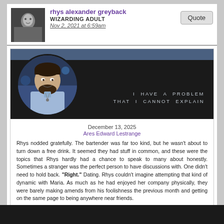rhys alexander greyback
WIZARDING ADULT
Nov 2, 2021 at 6:59am
[Figure (screenshot): Forum post card with dark header, circular portrait of a dark-haired bearded man, tagline 'I HAVE A PROBLEM THAT I CANNOT EXPLAIN', dated December 13, 2025, character Ares Edward Lestrange]
December 13, 2025
Ares Edward Lestrange
Rhys nodded gratefully. The bartender was far too kind, but he wasn't about to turn down a free drink. It seemed they had stuff in common, and these were the topics that Rhys hardly had a chance to speak to many about honestly. Sometimes a stranger was the perfect person to have discussions with. One didn't need to hold back. "Right." Dating. Rhys couldn't imagine attempting that kind of dynamic with Maria. As much as he had enjoyed her company physically, they were barely making amends from his foolishness the previous month and getting on the same page to being anywhere near friends.

Plus, while he was committed to the cause of fatherhood—despite the honest anxiety and fear he felt. Commitment to a partner was an entirely different